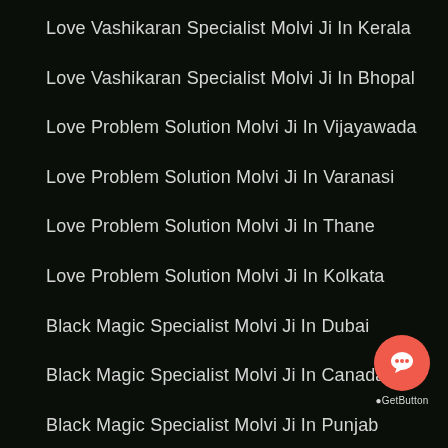Love Vashikaran Specialist Molvi Ji In Kerala
Love Vashikaran Specialist Molvi Ji In Bhopal
Love Problem Solution Molvi Ji In Vijayawada
Love Problem Solution Molvi Ji In Varanasi
Love Problem Solution Molvi Ji In Thane
Love Problem Solution Molvi Ji In Kolkata
Black Magic Specialist Molvi Ji In Dubai
Black Magic Specialist Molvi Ji In Canada
Black Magic Specialist Molvi Ji In Punjab
Black Magic Specialist Molvi Ji In Pune
[Figure (other): GetButton chat widget — orange circular button with speech bubble icon, labeled '2.GetButton']